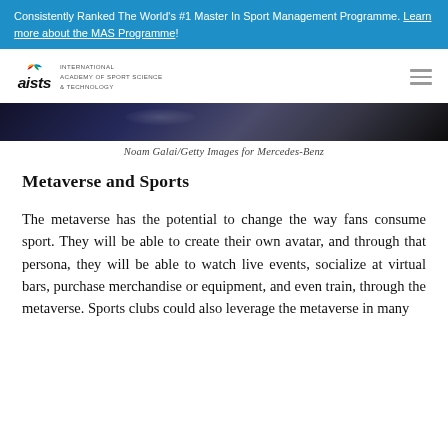Consistently Ranked The World's #1 Master In Sport Management Programme. Learn more about the MAS Programme!
[Figure (logo): AISTS logo — stylized italic 'aists' wordmark with Olympic-ring-colored wing/flag motif, and text 'INTERNATIONAL ACADEMY OF SPORT SCIENCE & TECHNOLOGY']
[Figure (photo): Dark photo strip — dark blurred background, partial image visible]
Noam Galai/Getty Images for Mercedes-Benz
Metaverse and Sports
The metaverse has the potential to change the way fans consume sport. They will be able to create their own avatar, and through that persona, they will be able to watch live events, socialize at virtual bars, purchase merchandise or equipment, and even train, through the metaverse. Sports clubs could also leverage the metaverse in many